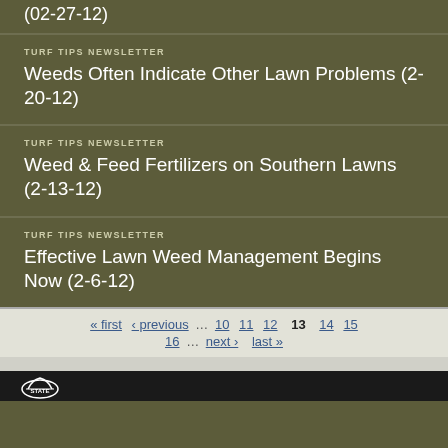(02-27-12)
TURF TIPS NEWSLETTER
Weeds Often Indicate Other Lawn Problems (2-20-12)
TURF TIPS NEWSLETTER
Weed &amp; Feed Fertilizers on Southern Lawns (2-13-12)
TURF TIPS NEWSLETTER
Effective Lawn Weed Management Begins Now (2-6-12)
« first ‹ previous … 10 11 12 13 14 15 16 … next › last »